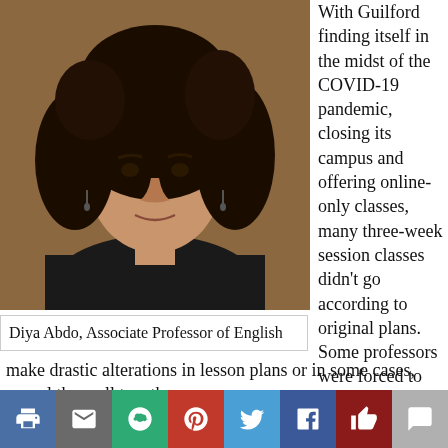[Figure (photo): Headshot of Diya Abdo, a woman with curly dark hair wearing a black top, against a brown background.]
Diya Abdo, Associate Professor of English
With Guilford finding itself in the midst of the COVID-19 pandemic, closing its campus and offering online-only classes, many three-week session classes didn't go according to original plans. Some professors were forced to make drastic alterations in lesson plans or in some cases, cancel them all together.
For English and Creative Writing Department professors Mylene